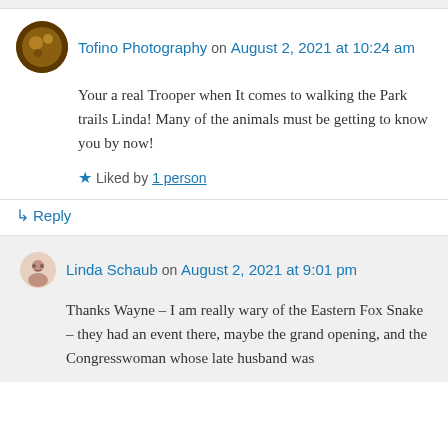Tofino Photography on August 2, 2021 at 10:24 am
Your a real Trooper when It comes to walking the Park trails Linda! Many of the animals must be getting to know you by now!
Liked by 1 person
↳ Reply
Linda Schaub on August 2, 2021 at 9:01 pm
Thanks Wayne – I am really wary of the Eastern Fox Snake – they had an event there, maybe the grand opening, and the Congresswoman whose late husband was